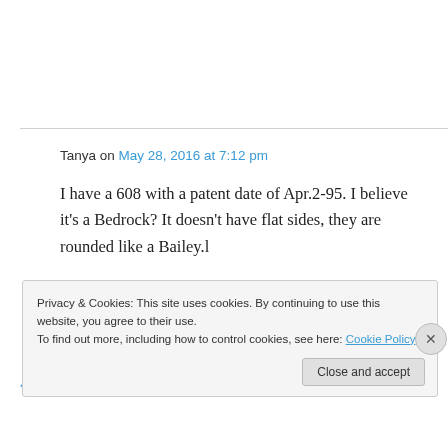Tanya on May 28, 2016 at 7:12 pm
I have a 608 with a patent date of Apr.2-95. I believe it's a Bedrock? It doesn't have flat sides, they are rounded like a Bailey.l
★ Like
↪ Reply
Privacy & Cookies: This site uses cookies. By continuing to use this website, you agree to their use. To find out more, including how to control cookies, see here: Cookie Policy